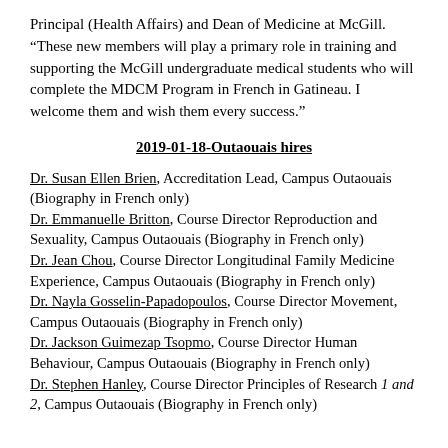Principal (Health Affairs) and Dean of Medicine at McGill. “These new members will play a primary role in training and supporting the McGill undergraduate medical students who will complete the MDCM Program in French in Gatineau. I welcome them and wish them every success.”
2019-01-18-Outaouais hires
Dr. Susan Ellen Brien, Accreditation Lead, Campus Outaouais (Biography in French only)
Dr. Emmanuelle Britton, Course Director Reproduction and Sexuality, Campus Outaouais (Biography in French only)
Dr. Jean Chou, Course Director Longitudinal Family Medicine Experience, Campus Outaouais (Biography in French only)
Dr. Nayla Gosselin-Papadopoulos, Course Director Movement, Campus Outaouais (Biography in French only)
Dr. Jackson Guimezap Tsopmo, Course Director Human Behaviour, Campus Outaouais (Biography in French only)
Dr. Stephen Hanley, Course Director Principles of Research 1 and 2, Campus Outaouais (Biography in French only)